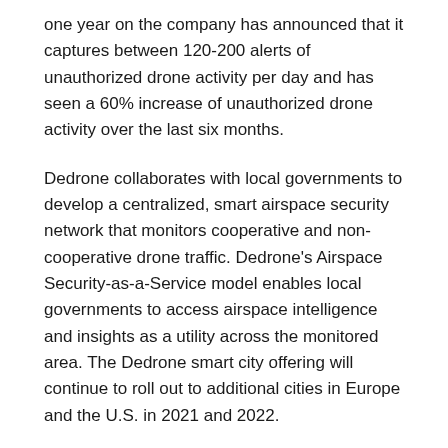one year on the company has announced that it captures between 120-200 alerts of unauthorized drone activity per day and has seen a 60% increase of unauthorized drone activity over the last six months.
Dedrone collaborates with local governments to develop a centralized, smart airspace security network that monitors cooperative and non-cooperative drone traffic. Dedrone's Airspace Security-as-a-Service model enables local governments to access airspace intelligence and insights as a utility across the monitored area. The Dedrone smart city offering will continue to roll out to additional cities in Europe and the U.S. in 2021 and 2022.
The company also recently added its ninth U.S. federal customer, with three new federal agencies joining in September 2021.
Read more at Dedrone